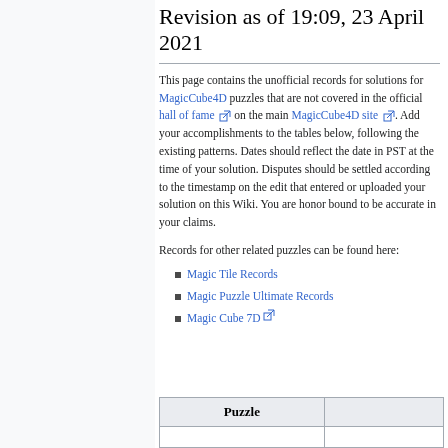Revision as of 19:09, 23 April 2021
This page contains the unofficial records for solutions for MagicCube4D puzzles that are not covered in the official hall of fame on the main MagicCube4D site. Add your accomplishments to the tables below, following the existing patterns. Dates should reflect the date in PST at the time of your solution. Disputes should be settled according to the timestamp on the edit that entered or uploaded your solution on this Wiki. You are honor bound to be accurate in your claims.
Records for other related puzzles can be found here:
Magic Tile Records
Magic Puzzle Ultimate Records
Magic Cube 7D
| Puzzle |  |
| --- | --- |
|  |  |